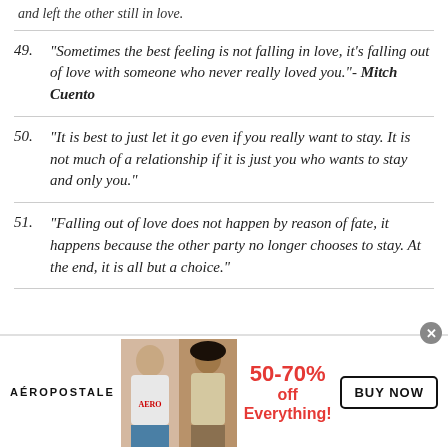and left the other still in love.
49. “Sometimes the best feeling is not falling in love, it’s falling out of love with someone who never really loved you.”- Mitch Cuento
50. “It is best to just let it go even if you really want to stay. It is not much of a relationship if it is just you who wants to stay and only you.”
51. “Falling out of love does not happen by reason of fate, it happens because the other party no longer chooses to stay. At the end, it is all but a choice.”
[Figure (infographic): Aeropostale advertisement banner: 50-70% off Everything! with BUY NOW button and two female models]